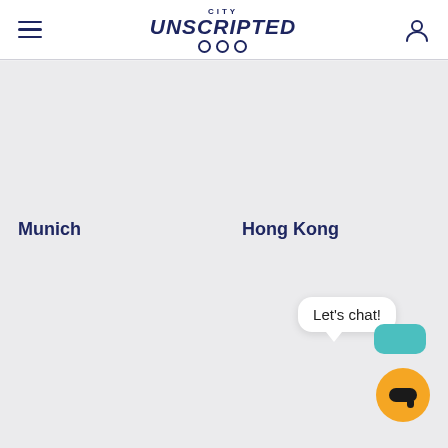City Unscripted logo with hamburger menu and user icon
Munich
Hong Kong
New York
Let's chat!